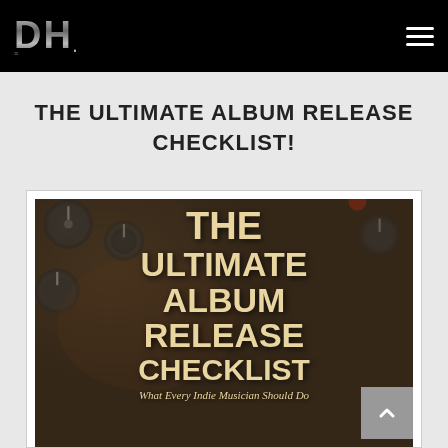DH. [navigation logo and hamburger menu]
THE ULTIMATE ALBUM RELEASE CHECKLIST!
[Figure (infographic): Promotional infographic image with dark music studio background showing audio equipment knobs. Large bold text reads: THE ULTIMATE ALBUM RELEASE CHECKLIST. Subtitle in italic: What Every Indie Musician Should Do]